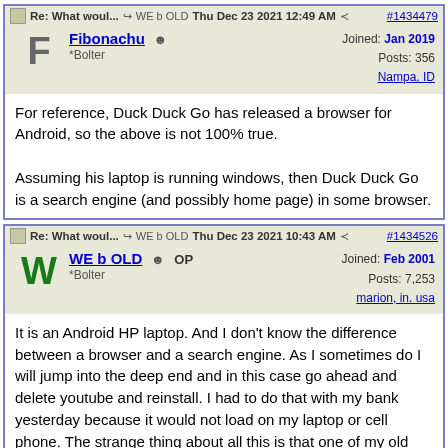Re: What woul... WE b OLD Thu Dec 23 2021 12:49 AM #1434479
Fibonachu ☺ Joined: Jan 2019 *Bolter Posts: 356 Nampa, ID
For reference, Duck Duck Go has released a browser for Android, so the above is not 100% true.

Assuming his laptop is running windows, then Duck Duck Go is a search engine (and possibly home page) in some browser.
Re: What woul... WE b OLD Thu Dec 23 2021 10:43 AM #1434526
WE b OLD ☺ OP Joined: Feb 2001 *Bolter Posts: 7,253 marion, in. usa
It is an Android HP laptop. And I don't know the difference between a browser and a search engine. As I sometimes do I will jump into the deep end and in this case go ahead and delete youtube and reinstall. I had to do that with my bank yesterday because it would not load on my laptop or cell phone. The strange thing about all this is that one of my old